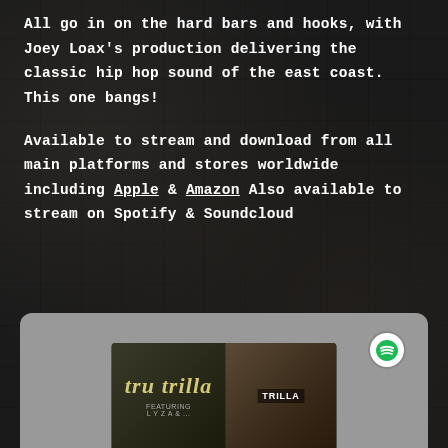All go in on the hard bars and hooks, with Joey Loax's production delivering the classic hip hop sound of the east coast. This one bangs!
Available to stream and download from all main platforms and stores worldwide including Apple & Amazon Also available to stream on Spotify & Soundcloud
[Figure (screenshot): Spotify embed player showing album art for 'tru trilla' with Spotify logo in top right corner. Grey rounded card with album artwork at bottom center.]